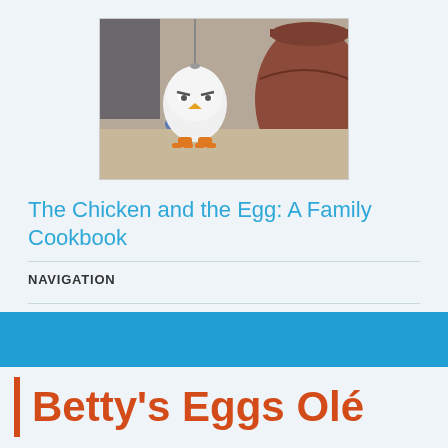[Figure (photo): A cartoon egg character with orange feet and angry expression standing next to a large clay pot, on a kitchen counter]
The Chicken and the Egg: A Family Cookbook
NAVIGATION
Betty's Eggs Olé